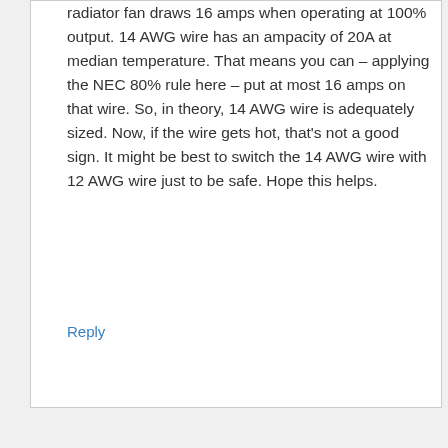radiator fan draws 16 amps when operating at 100% output. 14 AWG wire has an ampacity of 20A at median temperature. That means you can – applying the NEC 80% rule here – put at most 16 amps on that wire. So, in theory, 14 AWG wire is adequately sized. Now, if the wire gets hot, that's not a good sign. It might be best to switch the 14 AWG wire with 12 AWG wire just to be safe. Hope this helps.
Reply